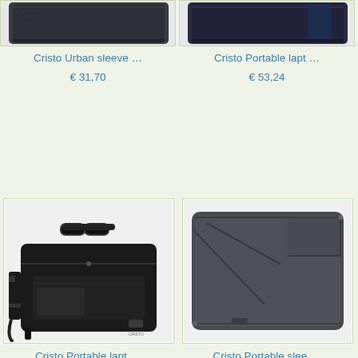[Figure (photo): Cristo Urban sleeve laptop bag partial top view, dark grey/black]
Cristo Urban sleeve …
€ 31,70
[Figure (photo): Cristo Portable laptop bag partial top view, dark navy/black]
Cristo Portable lapt …
€ 53,24
[Figure (photo): Cristo Portable laptop briefcase bag, black, with shoulder strap and handles]
Cristo Portable lapt …
[Figure (photo): Cristo Portable sleeve laptop bag, dark grey with diagonal zipper pockets]
Cristo Portable slee …